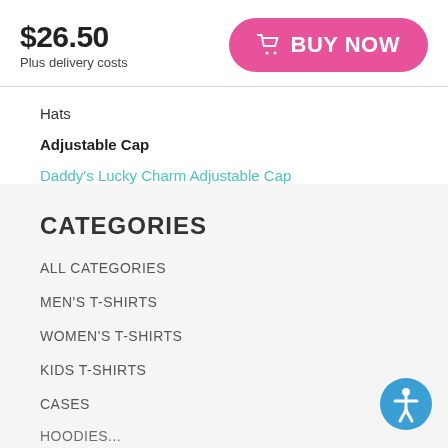$26.50
Plus delivery costs
[Figure (other): Pink rounded BUY NOW button with cart icon]
Hats
Adjustable Cap
Daddy's Lucky Charm Adjustable Cap
CATEGORIES
ALL CATEGORIES
MEN'S T-SHIRTS
WOMEN'S T-SHIRTS
KIDS T-SHIRTS
CASES
[Figure (other): Blue circular accessibility icon button in bottom right corner]